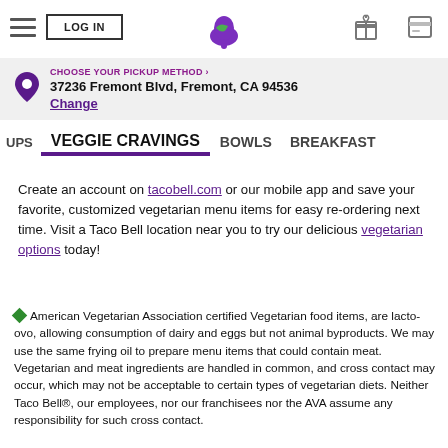LOG IN | Taco Bell | Gift | Card
CHOOSE YOUR PICKUP METHOD › 37236 Fremont Blvd, Fremont, CA 94536 Change
UPS   VEGGIE CRAVINGS   BOWLS   BREAKFAST
Create an account on tacobell.com or our mobile app and save your favorite, customized vegetarian menu items for easy re-ordering next time. Visit a Taco Bell location near you to try our delicious vegetarian options today!
◆American Vegetarian Association certified Vegetarian food items, are lacto-ovo, allowing consumption of dairy and eggs but not animal byproducts. We may use the same frying oil to prepare menu items that could contain meat. Vegetarian and meat ingredients are handled in common, and cross contact may occur, which may not be acceptable to certain types of vegetarian diets. Neither Taco Bell®, our employees, nor our franchisees nor the AVA assume any responsibility for such cross contact.